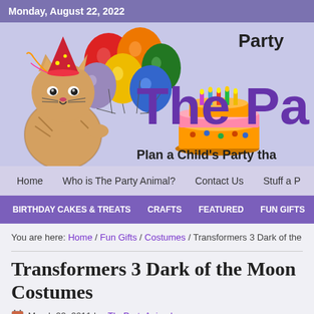Monday, August 22, 2022
[Figure (illustration): Website banner for 'The Party Animal' children's party planning website. Features a cartoon cat with a party hat holding balloons, colorful birthday balloons, and a birthday cake. Large purple text 'The Pa' visible, with 'Party' in black script and 'Plan a Child's Party tha' tagline.]
Home | Who is The Party Animal? | Contact Us | Stuff a P
BIRTHDAY CAKES & TREATS | CRAFTS | FEATURED | FUN GIFTS
You are here: Home / Fun Gifts / Costumes / Transformers 3 Dark of the Moon Costur
Transformers 3 Dark of the Moon Costumes
March 22, 2011 by ThePartyAnimal
Filed under Costumes